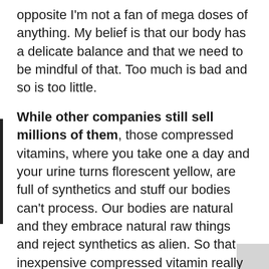opposite I'm not a fan of mega doses of anything. My belief is that our body has a delicate balance and that we need to be mindful of that. Too much is bad and so is too little.
While other companies still sell millions of them, those compressed vitamins, where you take one a day and your urine turns florescent yellow, are full of synthetics and stuff our bodies can't process. Our bodies are natural and they embrace natural raw things and reject synthetics as alien. So that inexpensive compressed vitamin really is just expensive urine. The right supplements will be made from raw natural ingredients and will be processed in a way that our body can take what it needs and easily flush what it doesn't.